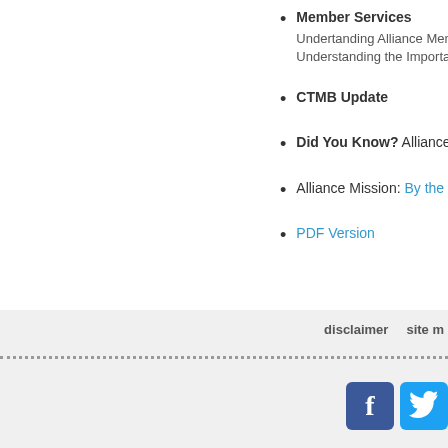Member Services
Undertanding Alliance Mem...
Understanding the Importa...
CTMB Update
Did You Know? Alliance We...
Alliance Mission: By the W...
PDF Version
disclaimer   site m...